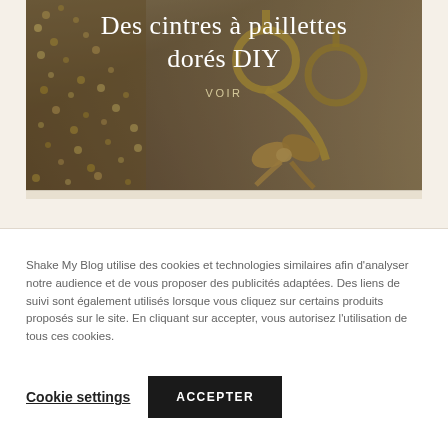[Figure (photo): Photo of golden sequined DIY hangers with satin ribbon bow, in warm golden-brown tones]
Des cintres à paillettes dorés DIY
VOIR
Shake My Blog utilise des cookies et technologies similaires afin d'analyser notre audience et de vous proposer des publicités adaptées. Des liens de suivi sont également utilisés lorsque vous cliquez sur certains produits proposés sur le site. En cliquant sur accepter, vous autorisez l'utilisation de tous ces cookies.
Cookie settings
ACCEPTER